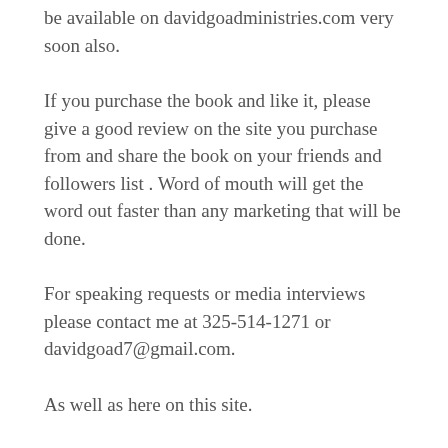be available on davidgoadministries.com very soon also.
If you purchase the book and like it, please give a good review on the site you purchase from and share the book on your friends and followers list . Word of mouth will get the word out faster than any marketing that will be done.
For speaking requests or media interviews please contact me at 325-514-1271 or davidgoad7@gmail.com.
As well as here on this site.